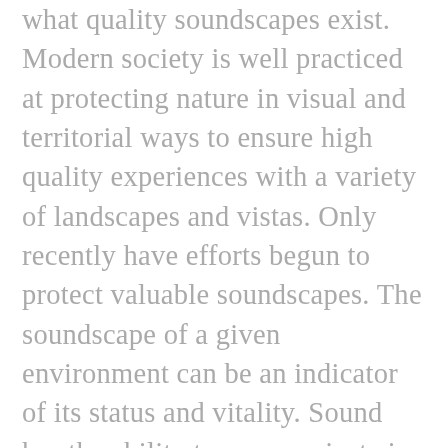what quality soundscapes exist. Modern society is well practiced at protecting nature in visual and territorial ways to ensure high quality experiences with a variety of landscapes and vistas. Only recently have efforts begun to protect valuable soundscapes. The soundscape of a given environment can be an indicator of its status and vitality. Sound has the ability to communicate in a variety of ways and experiencing these stories provides insight into the value of protecting these spaces. If we are able to protect the natural soundscape, we will be able to help many